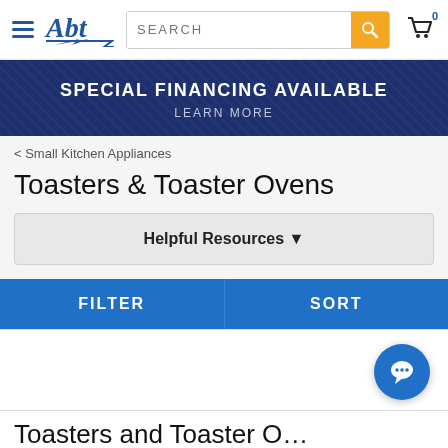Abt - SEARCH - cart 0
SPECIAL FINANCING AVAILABLE
LEARN MORE
< Small Kitchen Appliances
Toasters & Toaster Ovens
Helpful Resources ▼
FILTER   SORT
Toasters and Toaster O...